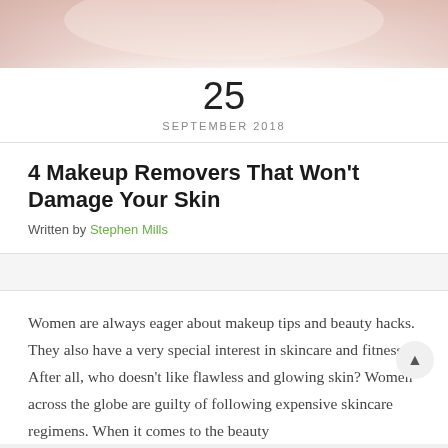[Figure (photo): Close-up photo of a woman's face with soft peach/beige tones, partially cropped at top of page]
25
SEPTEMBER 2018
4 Makeup Removers That Won't Damage Your Skin
Written by Stephen Mills
Women are always eager about makeup tips and beauty hacks. They also have a very special interest in skincare and fitness. After all, who doesn't like flawless and glowing skin? Women across the globe are guilty of following expensive skincare regimens. When it comes to the beauty